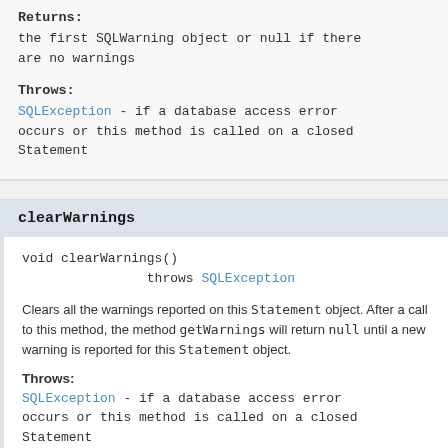Returns:
the first SQLWarning object or null if there are no warnings
Throws:
SQLException - if a database access error occurs or this method is called on a closed Statement
clearWarnings
void clearWarnings()
                throws SQLException
Clears all the warnings reported on this Statement object. After a call to this method, the method getWarnings will return null until a new warning is reported for this Statement object.
Throws:
SQLException - if a database access error occurs or this method is called on a closed Statement